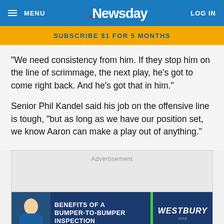MENU | Newsday | LOG IN
SUBSCRIBE $1 FOR 5 MONTHS
"We need consistency from him. If they stop him on the line of scrimmage, the next play, he's got to come right back. And he's got that in him."
Senior Phil Kandel said his job on the offensive line is tough, "but as long as we have our position set, we know Aaron can make a play out of anything."
[Figure (screenshot): Advertisement placeholder area with Westbury Jeep bumper-to-bumper inspection ad banner at the bottom]